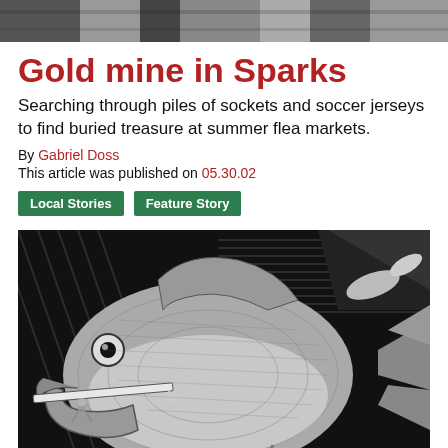[Figure (photo): Black and white photo at top of page, partially cropped, showing an outdoor scene]
Gold mine in Sparks
Searching through piles of sockets and soccer jerseys to find buried treasure at summer flea markets.
By Gabriel Doss
This article was published on 05.30.02
Local Stories
Feature Story
[Figure (illustration): Black and white illustration of a large fish with an open mouth, holding a small figure, surrounded by geometric wood-cut style background elements]